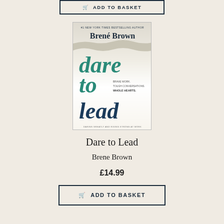[Figure (other): ADD TO BASKET button (top, partially visible)]
[Figure (illustration): Book cover of 'Dare to Lead' by Brené Brown. Teal and dark navy italic serif title text. Subtitle: BRAVE WORK. TOUGH CONVERSATIONS. WHOLE HEARTS. Bottom text: DARING GREATLY AND RISING STRONG AT WORK.]
Dare to Lead
Brene Brown
£14.99
[Figure (other): ADD TO BASKET button (bottom)]